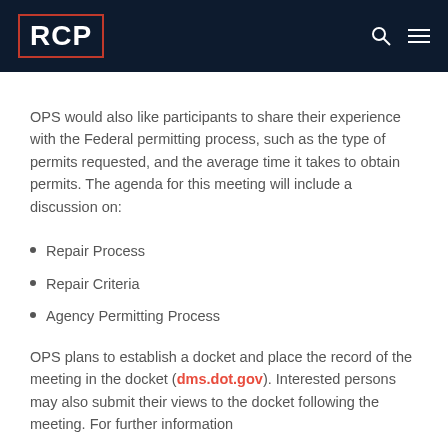RCP
OPS would also like participants to share their experience with the Federal permitting process, such as the type of permits requested, and the average time it takes to obtain permits. The agenda for this meeting will include a discussion on:
Repair Process
Repair Criteria
Agency Permitting Process
OPS plans to establish a docket and place the record of the meeting in the docket (dms.dot.gov). Interested persons may also submit their views to the docket following the meeting. For further information